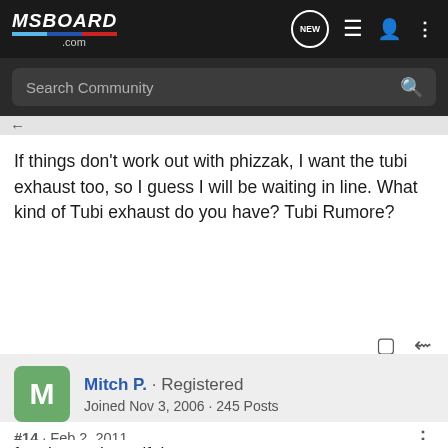MSBOARD.COM
Search Community
If things don't work out with phizzak, I want the tubi exhaust too, so I guess I will be waiting in line. What kind of Tubi exhaust do you have? Tubi Rumore?
Mitch P. · Registered
Joined Nov 3, 2006 · 245 Posts
#14 · Feb 2, 2011
free bump, beautiful car